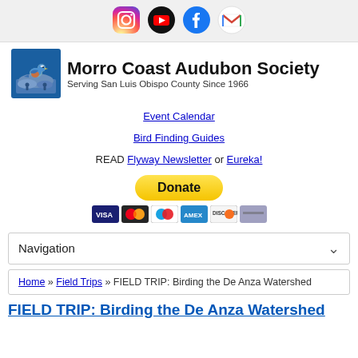Social media icons: Instagram, YouTube, Facebook, Gmail
[Figure (logo): Morro Coast Audubon Society logo with bird on rock and text: Morro Coast Audubon Society, Serving San Luis Obispo County Since 1966]
Event Calendar
Bird Finding Guides
READ Flyway Newsletter or Eureka!
[Figure (other): Donate button with PayPal and payment card icons (Visa, Mastercard, Maestro, Amex, Discover, bank card)]
Navigation
Home » Field Trips » FIELD TRIP: Birding the De Anza Watershed
FIELD TRIP: Birding the De Anza Watershed